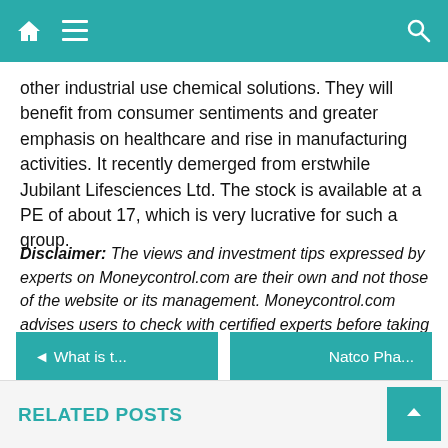Navigation bar with home, menu, and search icons
other industrial use chemical solutions. They will benefit from consumer sentiments and greater emphasis on healthcare and rise in manufacturing activities. It recently demerged from erstwhile Jubilant Lifesciences Ltd. The stock is available at a PE of about 17, which is very lucrative for such a group.
Disclaimer: The views and investment tips expressed by experts on Moneycontrol.com are their own and not those of the website or its management. Moneycontrol.com advises users to check with certified experts before taking any investment decision.
◄ What is t...
Natco Pha...
RELATED POSTS